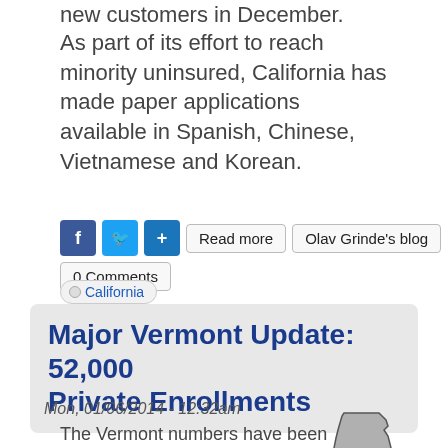new customers in December.
As part of its effort to reach minority uninsured, California has made paper applications available in Spanish, Chinese, Vietnamese and Korean.
Read more  Olav Grinde's blog  0 Comments  California
Major Vermont Update: 52,000 Private Enrollments
Mon, 01/06/2014 - 12:32am
The Vermont numbers have been alternately impressive and confusing at the same time. The wording of a prior